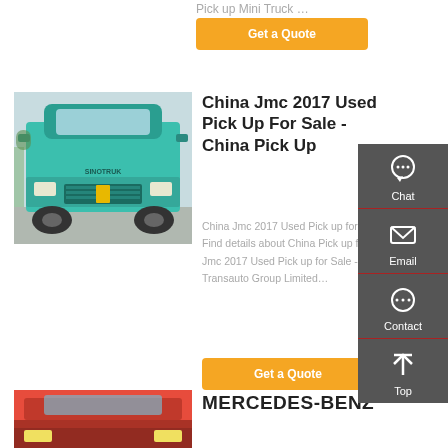Pick up Mini Truck …
Get a Quote
[Figure (photo): Front view of a teal/green heavy duty truck (SINOTRUK HOWO style) parked outdoors]
China Jmc 2017 Used Pick Up For Sale - China Pick Up
China Jmc 2017 Used Pick up for Sale, Find details about China Pick up from Jmc 2017 Used Pick up for Sale - Transauto Group Limited…
Get a Quote
[Figure (photo): Partial front view of a red Mercedes-Benz truck]
MERCEDES-BENZ